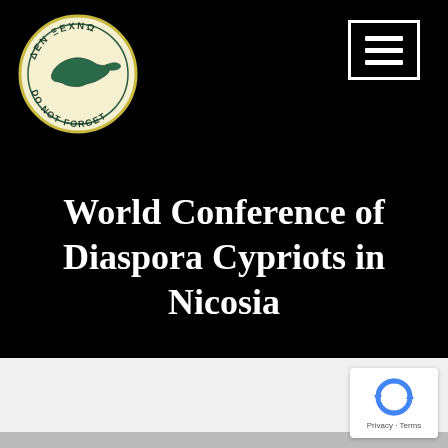[Figure (logo): Circular emblem with Cyprus map silhouette in teal/dark green on cream/yellow background, text reading 'ΔΕΝ ΞΕΧΝΩ' at top and 'DO NOT FORGET' at bottom]
[Figure (other): Hamburger menu icon (three horizontal white lines) in a white-bordered square, top right corner on black background]
World Conference of Diaspora Cypriots in Nicosia
[Figure (other): reCAPTCHA widget showing blue recycle/refresh arrows logo, with 'Privacy - Terms' text below]